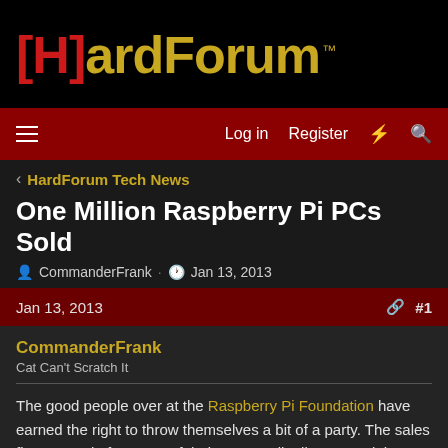[Figure (logo): [H]ardForum logo with red brackets and gold text on black background]
Log in  Register
< HardForum Tech News
One Million Raspberry Pi PCs Sold
CommanderFrank · Jan 13, 2013
Jan 13, 2013  #1
CommanderFrank
Cat Can't Scratch It
The good people over at the Raspberry Pi Foundation have earned the right to throw themselves a bit of a party. The sales figures are in from one of their two PC distributors and the estimated sold units for 2012 is sitting right at the one million mark. That&#8217;s quite an accomplishment in less